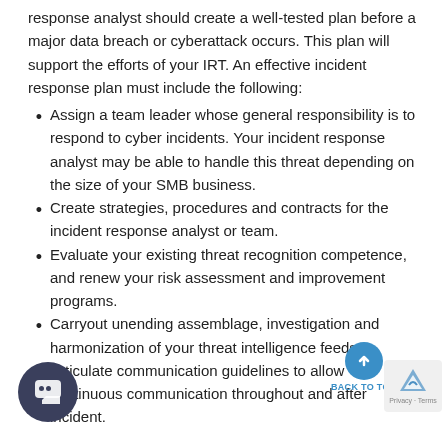response analyst should create a well-tested plan before a major data breach or cyberattack occurs. This plan will support the efforts of your IRT. An effective incident response plan must include the following:
Assign a team leader whose general responsibility is to respond to cyber incidents. Your incident response analyst may be able to handle this threat depending on the size of your SMB business.
Create strategies, procedures and contracts for the incident response analyst or team.
Evaluate your existing threat recognition competence, and renew your risk assessment and improvement programs.
Carryout unending assemblage, investigation and harmonization of your threat intelligence feeds. Articulate communication guidelines to allow continuous communication throughout and after incident.